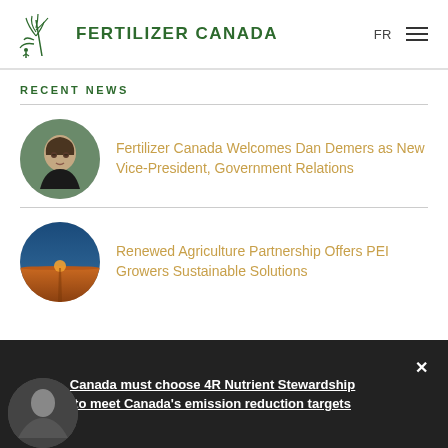Fertilizer Canada  FR
RECENT NEWS
[Figure (photo): Circular portrait photo of Dan Demers, a man with glasses and long hair wearing a dark blazer]
Fertilizer Canada Welcomes Dan Demers as New Vice-President, Government Relations
[Figure (photo): Circular landscape photo of a flat agricultural field at sunset/dusk with orange sky]
Renewed Agriculture Partnership Offers PEI Growers Sustainable Solutions
Canada must choose 4R Nutrient Stewardship to meet Canada's emission reduction targets